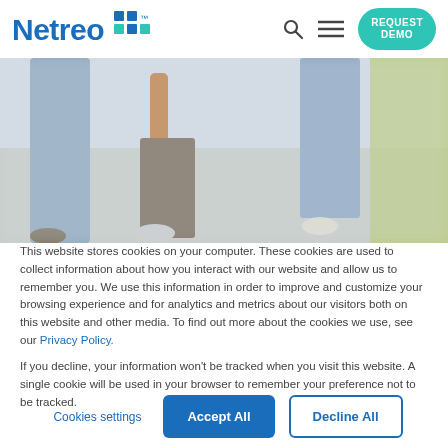[Figure (logo): Netreo logo with blue text and teal/blue square dot grid to the right]
[Figure (photo): Blurred photo of people walking on a sunny path, showing legs and feet from below the waist]
This website stores cookies on your computer. These cookies are used to collect information about how you interact with our website and allow us to remember you. We use this information in order to improve and customize your browsing experience and for analytics and metrics about our visitors both on this website and other media. To find out more about the cookies we use, see our Privacy Policy.
If you decline, your information won't be tracked when you visit this website. A single cookie will be used in your browser to remember your preference not to be tracked.
Cookies settings
Accept All
Decline All